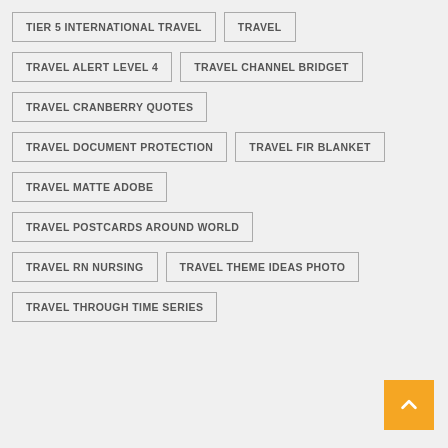TIER 5 INTERNATIONAL TRAVEL
TRAVEL
TRAVEL ALERT LEVEL 4
TRAVEL CHANNEL BRIDGET
TRAVEL CRANBERRY QUOTES
TRAVEL DOCUMENT PROTECTION
TRAVEL FIR BLANKET
TRAVEL MATTE ADOBE
TRAVEL POSTCARDS AROUND WORLD
TRAVEL RN NURSING
TRAVEL THEME IDEAS PHOTO
TRAVEL THROUGH TIME SERIES